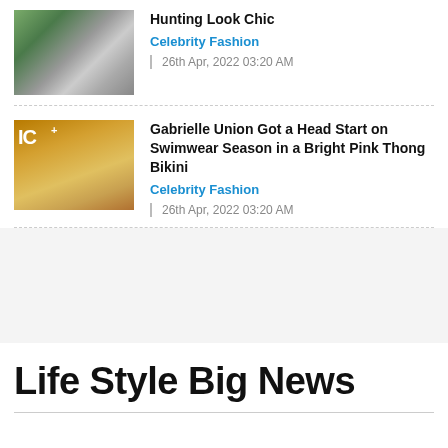[Figure (photo): Thumbnail photo of a woman in a light top outdoors near a car with green foliage in background]
Hunting Look Chic
Celebrity Fashion
26th Apr, 2022 03:20 AM
[Figure (photo): Thumbnail photo of Gabrielle Union smiling, with IC+ logo overlay on golden background]
Gabrielle Union Got a Head Start on Swimwear Season in a Bright Pink Thong Bikini
Celebrity Fashion
26th Apr, 2022 03:20 AM
Life Style Big News